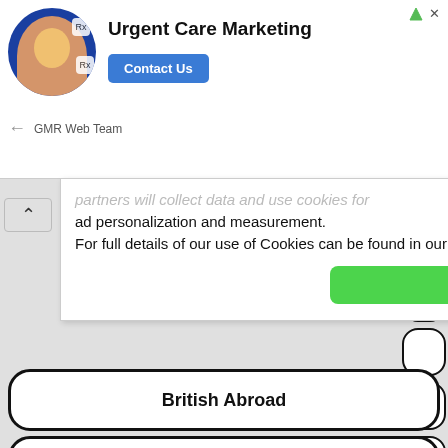[Figure (screenshot): Advertisement banner: Urgent Care Marketing with person avatar, Contact Us button, GMR Web Team source label]
partners will collect data and use cookies for ad personalization and measurement. For full details of our use of Cookies can be found in our Privacy Policy
I accept
British Abroad
National
Certificates
Tutorials
FAQ